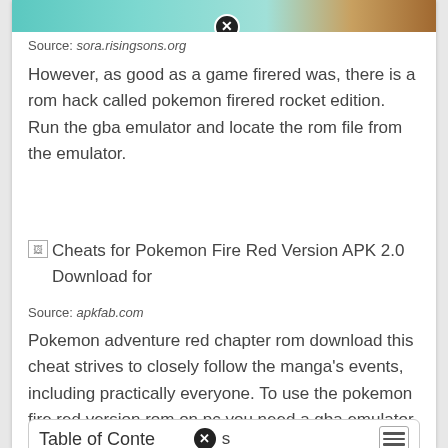[Figure (photo): Partial top of a game-related banner image with teal/turquoise background, partially cropped, with a close/X button overlay]
Source: sora.risingsons.org
However, as good as a game firered was, there is a rom hack called pokemon firered rocket edition. Run the gba emulator and locate the rom file from the emulator.
[Figure (other): Broken image placeholder followed by text: Cheats for Pokemon Fire Red Version APK 2.0 Download for]
Source: apkfab.com
Pokemon adventure red chapter rom download this cheat strives to closely follow the manga's events, including practically everyone. To use the pokemon fire red version rom on pc you need a gba emulator for windows pc.
| Table of Contents |
| --- |